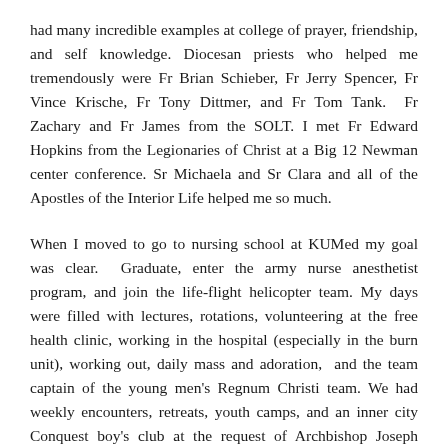had many incredible examples at college of prayer, friendship, and self knowledge. Diocesan priests who helped me tremendously were Fr Brian Schieber, Fr Jerry Spencer, Fr Vince Krische, Fr Tony Dittmer, and Fr Tom Tank.  Fr Zachary and Fr James from the SOLT. I met Fr Edward Hopkins from the Legionaries of Christ at a Big 12 Newman center conference. Sr Michaela and Sr Clara and all of the Apostles of the Interior Life helped me so much.
When I moved to go to nursing school at KUMed my goal was clear.  Graduate, enter the army nurse anesthetist program, and join the life-flight helicopter team. My days were filled with lectures, rotations, volunteering at the free health clinic, working in the hospital (especially in the burn unit), working out, daily mass and adoration,  and the team captain of the young men's Regnum Christi team. We had weekly encounters, retreats, youth camps, and an inner city Conquest boy's club at the request of Archbishop Joseph Naumann to work with the Hispanic youth. That group of